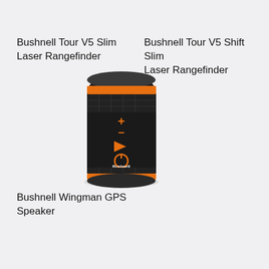Bushnell Tour V5 Slim Laser Rangefinder
Bushnell Tour V5 Shift Slim Laser Rangefinder
[Figure (photo): Bushnell Wingman GPS Speaker — a cylindrical black bluetooth speaker with orange accent ring bands at top and bottom, featuring orange control icons (plus, minus, play/forward, power button) on the front face, and the Bushnell logo in white text.]
Bushnell Wingman GPS Speaker